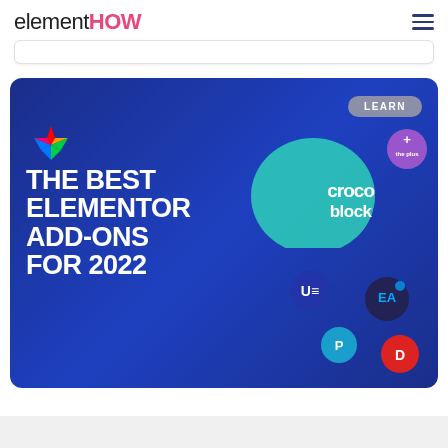elementHOW
[Figure (screenshot): elementHOW website screenshot showing a banner image for 'The Best Elementor Add-Ons For 2022' on a dark blue background with various plugin logos including Crocoblock, The Plus, Essential Addons, PowerPack, and Divi. A LEARN button appears in the top right of the banner. The elementHOW logo appears in black and pink at the top left with a hamburger menu icon at top right.]